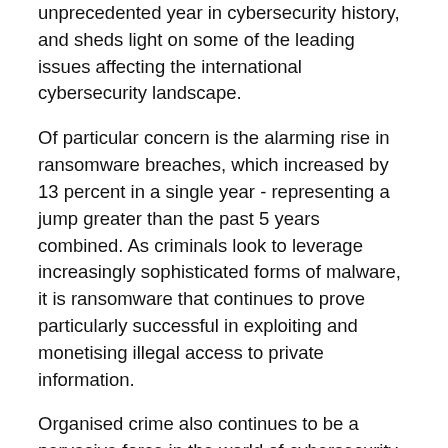unprecedented year in cybersecurity history, and sheds light on some of the leading issues affecting the international cybersecurity landscape.
Of particular concern is the alarming rise in ransomware breaches, which increased by 13 percent in a single year - representing a jump greater than the past 5 years combined. As criminals look to leverage increasingly sophisticated forms of malware, it is ransomware that continues to prove particularly successful in exploiting and monetising illegal access to private information.
Organised crime also continues to be a pervasive force in the world of cybersecurity. Roughly 4 in 5 breaches can be attributed to organised crime - with external actors approximately 4 times more likely to cause breaches in an organisation than internal actors.
Heightened geopolitical tensions are also driving